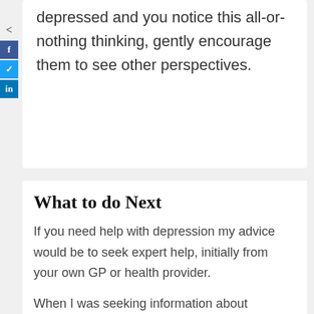depressed and you notice this all-or-nothing thinking, gently encourage them to see other perspectives.
What to do Next
If you need help with depression my advice would be to seek expert help, initially from your own GP or health provider.
When I was seeking information about